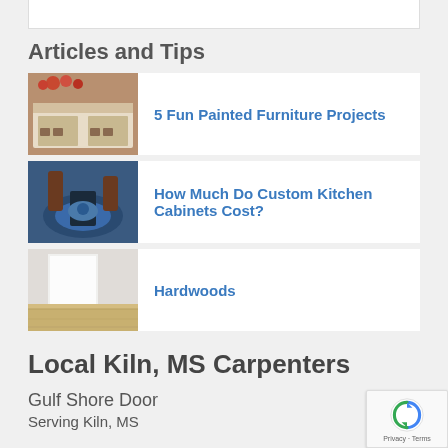Articles and Tips
5 Fun Painted Furniture Projects
How Much Do Custom Kitchen Cabinets Cost?
Hardwoods
Local Kiln, MS Carpenters
Gulf Shore Door
Serving Kiln, MS